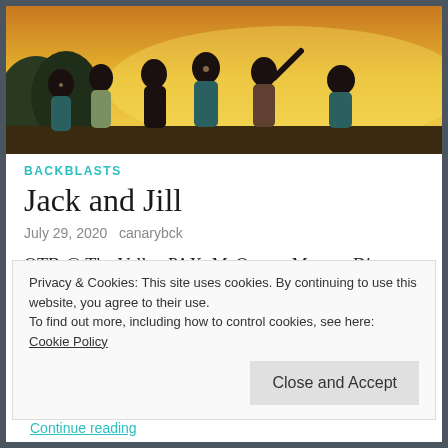[Figure (photo): Group photo of several women in athletic wear posing together outdoors at sunset/golden hour, some wearing teal/cyan tank tops]
BACKBLASTS
Jack and Jill
July 29, 2020   canarybck
OTB @ The Valley PAX: McQueen, Mentor, Dig,
Privacy & Cookies: This site uses cookies. By continuing to use this website, you agree to their use.
To find out more, including how to control cookies, see here:
Cookie Policy
Close and Accept
Continue reading